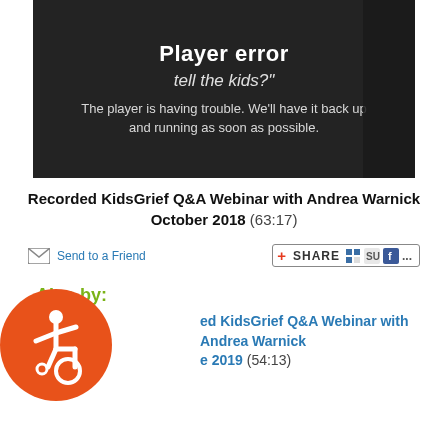[Figure (screenshot): Video player thumbnail showing a player error message overlay on a dark background. Text reads: 'Player error', 'tell the kids?"', 'The player is having trouble. We'll have it back up and running as soon as possible.']
Recorded KidsGrief Q&A Webinar with Andrea Warnick October 2018 (63:17)
[Figure (infographic): Send to a Friend email icon link and a Share button with social media icons (AddThis share widget)]
Also by:
Recorded KidsGrief Q&A Webinar with Andrea Warnick [date] 2019 (54:13)
[Figure (logo): Orange circular accessibility (wheelchair) badge icon in bottom left corner]